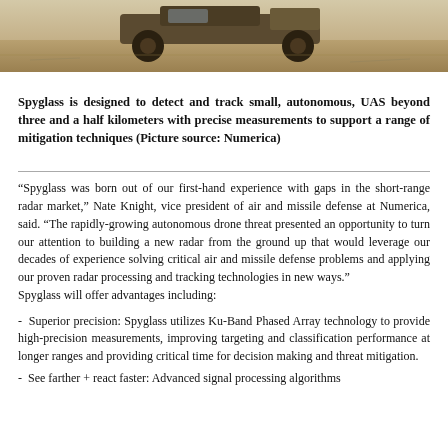[Figure (photo): Photograph of a military/utility vehicle (jeep-type) partially visible at the top of the page, appearing to be in a desert or arid field environment.]
Spyglass is designed to detect and track small, autonomous, UAS beyond three and a half kilometers with precise measurements to support a range of mitigation techniques (Picture source: Numerica)
“Spyglass was born out of our first-hand experience with gaps in the short-range radar market,” Nate Knight, vice president of air and missile defense at Numerica, said. “The rapidly-growing autonomous drone threat presented an opportunity to turn our attention to building a new radar from the ground up that would leverage our decades of experience solving critical air and missile defense problems and applying our proven radar processing and tracking technologies in new ways.”
Spyglass will offer advantages including:
- Superior precision: Spyglass utilizes Ku-Band Phased Array technology to provide high-precision measurements, improving targeting and classification performance at longer ranges and providing critical time for decision making and threat mitigation.
- See farther + react faster: Advanced signal processing algorithms